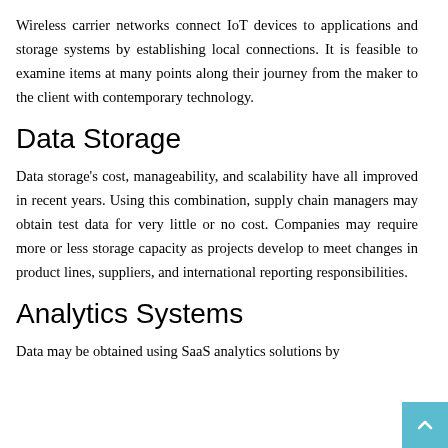Wireless carrier networks connect IoT devices to applications and storage systems by establishing local connections. It is feasible to examine items at many points along their journey from the maker to the client with contemporary technology.
Data Storage
Data storage's cost, manageability, and scalability have all improved in recent years. Using this combination, supply chain managers may obtain test data for very little or no cost. Companies may require more or less storage capacity as projects develop to meet changes in product lines, suppliers, and international reporting responsibilities.
Analytics Systems
Data may be obtained using SaaS analytics solutions by